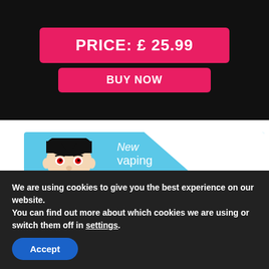PRICE:  £ 25.99
BUY NOW
[Figure (illustration): Vampire Vape product banner with vampire logo, 'New vaping' text, purple pods, and large number 5]
We are using cookies to give you the best experience on our website.
You can find out more about which cookies we are using or switch them off in settings.
Accept